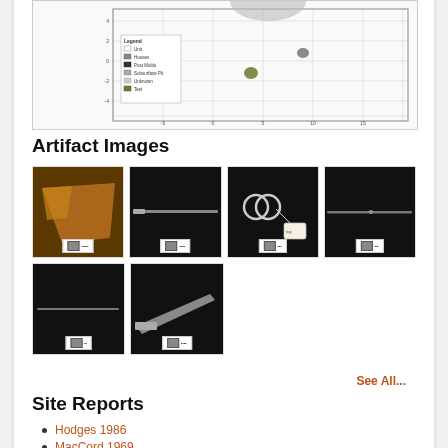[Figure (scatter-plot): Scatter plot with grid and legend showing artifact site data points. Legend includes: Unit, Houses, Post Molds, Subsurface Pit, Unknown, Test categories. Two data points visible — one olive/green dot and one gray dot on the grid.]
Artifact Images
[Figure (photo): Grid of 6 artifact photographs on black backgrounds, each with a white label tag at the bottom. Top row: amber/brown triangular artifact, long thin metal rod, two rings with tag, thin rod. Bottom row: thin rod, angled metal artifact.]
See All...
Site Reports
Hodges 1986
MacCord 1969